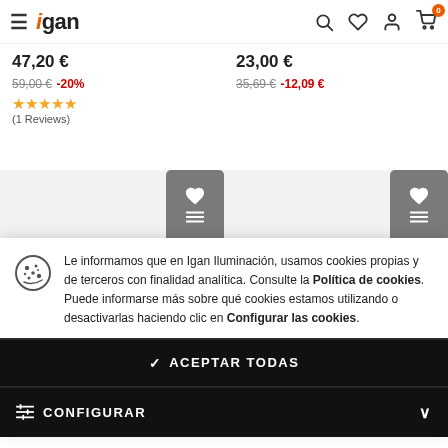Igan — navigation header with hamburger menu, logo, search, wishlist, account, cart icons
47,20 €
59,00 € -20%
★★★★★ (1 Reviews)
23,00 €
35,69 € -12,09 €
[Figure (infographic): Two product wishlist/save buttons (grey rounded rectangles with heart and list icon)]
Le informamos que en Igan Iluminación, usamos cookies propias y de terceros con finalidad analítica. Consulte la Política de cookies. Puede informarse más sobre qué cookies estamos utilizando o desactivarlas haciendo clic en Configurar las cookies.
✓ ACEPTAR TODAS
≡ CONFIGURAR